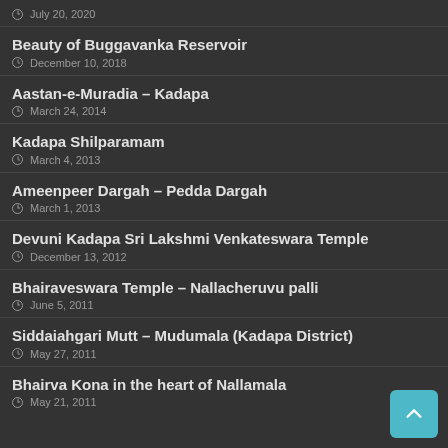July 20, 2020
Beauty of Buggavanka Reservoir
December 10, 2018
Aastan-e-Muradia – Kadapa
March 24, 2014
Kadapa Shilparamam
March 4, 2013
Ameenpeer Dargah – Pedda Dargah
March 1, 2013
Devuni Kadapa Sri Lakshmi Venkateswara Temple
December 13, 2012
Bhairaveswara Temple – Nallacheruvu palli
June 5, 2011
Siddaiahgari Mutt – Mudumala (Kadapa District)
May 27, 2011
Bhairva Kona in the heart of Nallamala
May 21, 2011